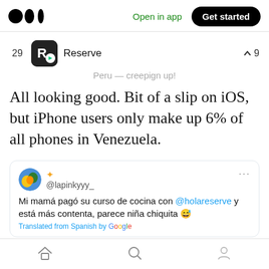Medium logo | Open in app | Get started
29 Reserve ∧9
Peru — creepign up!
All looking good. Bit of a slip on iOS, but iPhone users only make up 6% of all phones in Venezuela.
@lapinkyyy_ Mi mamá pagó su curso de cocina con @holareserve y está más contenta, parece niña chiquita 😅 Translated from Spanish by Google
Home Search Profile navigation